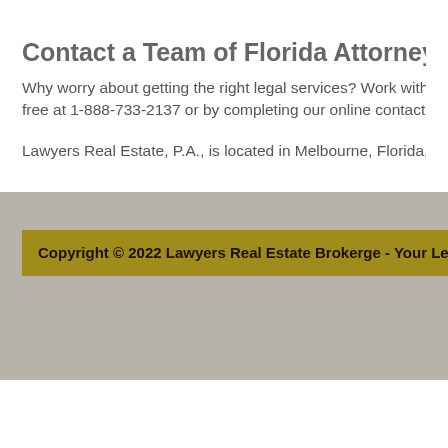Contact a Team of Florida Attorneys to Market Real Estate
Why worry about getting the right legal services? Work with Lawyers Real Estate, P.A. Call us toll free at 1-888-733-2137 or by completing our online contact form.
Lawyers Real Estate, P.A., is located in Melbourne, Florida, and serves clients throughout the state.
Copyright © 2022 Lawyers Real Estate Brokerge - Your Legal Advisor